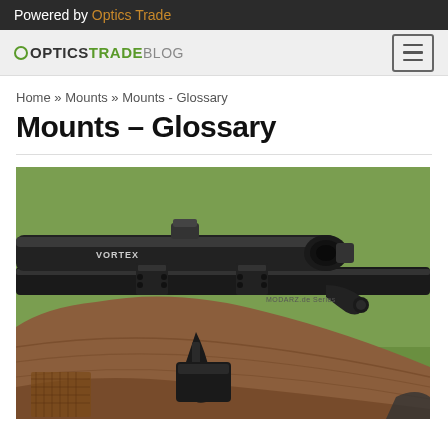Powered by Optics Trade
OPTICSTRADEBLOG
Home » Mounts » Mounts - Glossary
Mounts – Glossary
[Figure (photo): Close-up photo of a bolt-action rifle with a Vortex scope mounted on top using scope rings/mounts, wooden stock visible, green blurred background]